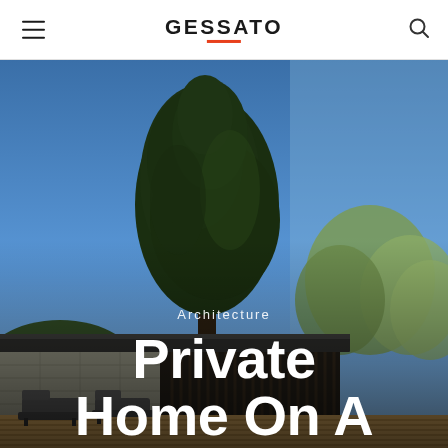GESSATO
[Figure (photo): Exterior photograph of a modern private house with stone/gabion walls, flat roof overhangs, wooden slat decking and lounge chairs in the foreground, with large dark evergreen trees behind and a clear blue sky above.]
Architecture
Private Home On A